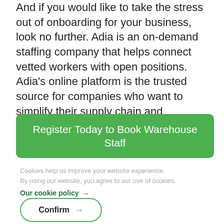And if you would like to take the stress out of onboarding for your business, look no further. Adia is an on-demand staffing company that helps connect vetted workers with open positions. Adia's online platform is the trusted source for companies who want to simplify their supply chain and warehouse staffing.
Register Today to Book Warehouse Staff
Cookies help us improve your website experience. By using our website, you agree to our use of cookies.
Our cookie policy →
Confirm →